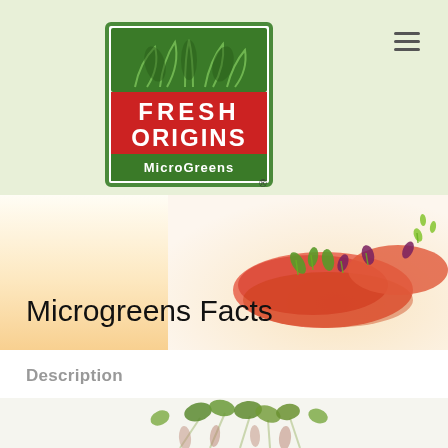[Figure (logo): Fresh Origins MicroGreens logo - green square border with illustrated grass/plants at top, red rectangle with white text FRESH ORIGINS, green bar with white text MicroGreens, registered trademark symbol]
Microgreens Facts
Description
[Figure (photo): Close-up photo of fresh microgreens with small green leaves and reddish stems against a light background]